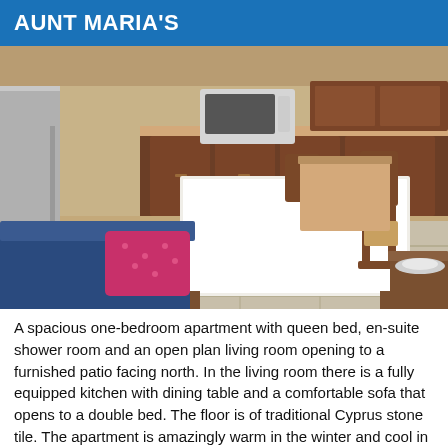AUNT MARIA'S
[Figure (photo): Interior photo of a spacious apartment kitchen and living area with a dining table covered by a white tablecloth, wooden chairs, kitchen cabinets, microwave, refrigerator, and a blue sofa with a pink pillow in the foreground. Stone tile floor visible.]
A spacious one-bedroom apartment with queen bed, en-suite shower room and an open plan living room opening to a furnished patio facing north. In the living room there is a fully equipped kitchen with dining table and a comfortable sofa that opens to a double bed. The floor is of traditional Cyprus stone tile. The apartment is amazingly warm in the winter and cool in the summer. Covered area: 51m².
Note that there are a few steps leading to this apartment, and it